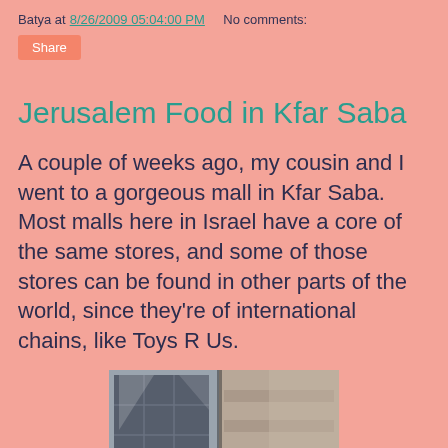Batya at 8/26/2009 05:04:00 PM   No comments:
Share
Jerusalem Food in Kfar Saba
A couple of weeks ago, my cousin and I went to a gorgeous mall in Kfar Saba. Most malls here in Israel have a core of the same stores, and some of those stores can be found in other parts of the world, since they're of international chains, like Toys R Us.
[Figure (photo): Photo of a mall entrance with glass doors and reflections, taken in Kfar Saba]